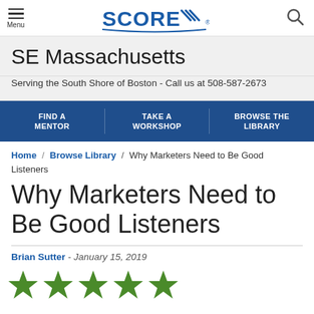Menu | SCORE | [search icon]
SE Massachusetts
Serving the South Shore of Boston - Call us at 508-587-2673
FIND A MENTOR | TAKE A WORKSHOP | BROWSE THE LIBRARY
Home / Browse Library / Why Marketers Need to Be Good Listeners
Why Marketers Need to Be Good Listeners
Brian Sutter - January 15, 2019
[Figure (other): Five green star rating icons partially visible at bottom of page]